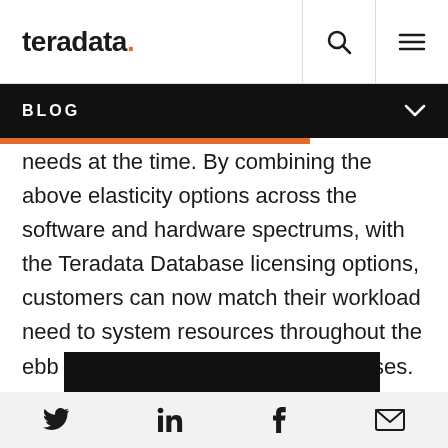teradata. [search icon] [menu icon]
BLOG
needs at the time. By combining the above elasticity options across the software and hardware spectrums, with the Teradata Database licensing options, customers can now match their workload need to system resources throughout the ebb and flow of the business processes.
[Figure (photo): Dark/black rectangular image block]
Social share icons: Twitter, LinkedIn, Facebook, Email